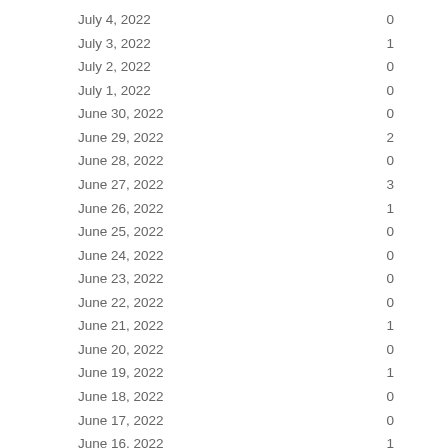| Date | Value |
| --- | --- |
| July 4, 2022 | 0 |
| July 3, 2022 | 1 |
| July 2, 2022 | 0 |
| July 1, 2022 | 0 |
| June 30, 2022 | 0 |
| June 29, 2022 | 2 |
| June 28, 2022 | 0 |
| June 27, 2022 | 3 |
| June 26, 2022 | 1 |
| June 25, 2022 | 0 |
| June 24, 2022 | 0 |
| June 23, 2022 | 0 |
| June 22, 2022 | 0 |
| June 21, 2022 | 1 |
| June 20, 2022 | 0 |
| June 19, 2022 | 1 |
| June 18, 2022 | 0 |
| June 17, 2022 | 0 |
| June 16, 2022 | 1 |
| June 15, 2022 | 1 |
| June 14, 2022 | 1 |
| June 13, 2022 | 5 |
| June 12, 2022 | 0 |